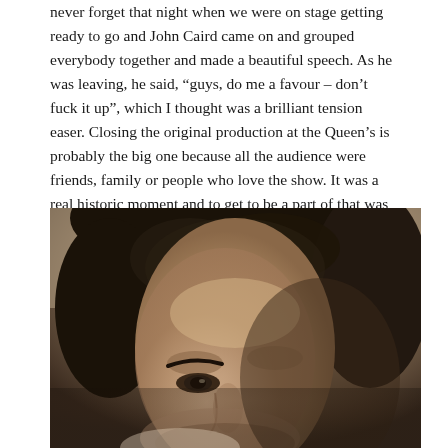never forget that night when we were on stage getting ready to go and John Caird came on and grouped everybody together and made a beautiful speech. As he was leaving, he said, “guys, do me a favour – don’t fuck it up”, which I thought was a brilliant tension easer. Closing the original production at the Queen’s is probably the big one because all the audience were friends, family or people who love the show. It was a real historic moment and to get to be a part of that was incredibly special.
[Figure (photo): Close-up portrait photograph of a young man with dark brown hair, photographed in a thoughtful downward-looking pose. The image is shot in a warm, slightly muted tone with the face occupying the lower portion of the frame and the hair filling the top. The background is a soft beige/tan.]